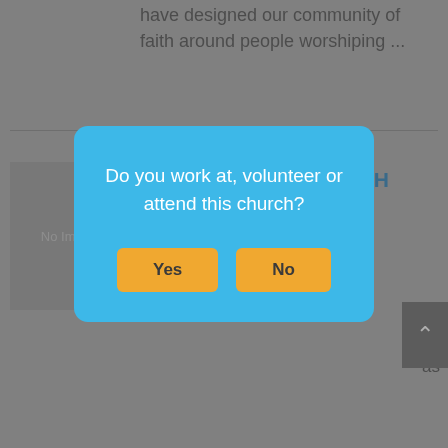have designed our community of faith around people worshiping ...
OZARK WORD CHURCH
Non-Denominational
Do you work at, volunteer or attend this church?
Yes
No
[Figure (screenshot): No Image placeholder box]
Baptist
1812 SOUTH DIXIELAND ROAD, Rogers, Arkansas 72758  1.52 mi
479-636-1064
http://www.templerogers.org/
Temple has a thriving minsitry to